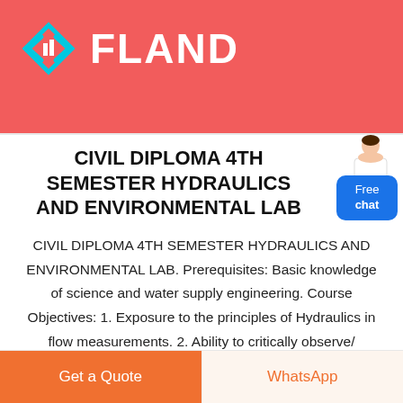FLAND
CIVIL DIPLOMA 4TH SEMESTER HYDRAULICS AND ENVIRONMENTAL LAB
CIVIL DIPLOMA 4TH SEMESTER HYDRAULICS AND ENVIRONMENTAL LAB. Prerequisites: Basic knowledge of science and water supply engineering. Course Objectives: 1. Exposure to the principles of Hydraulics in flow measurements. 2. Ability to critically observe/ examine and Measure